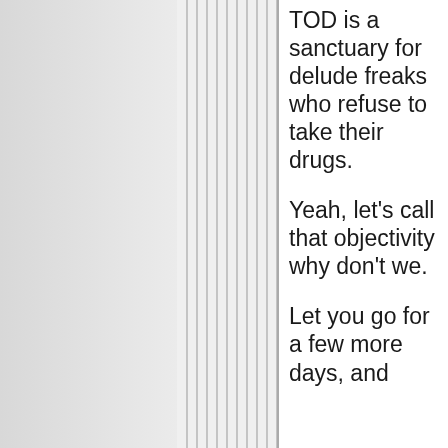TOD is a sanctuary for delude freaks who refuse to take their drugs.
Yeah, let's call that objectivity why don't we.
Let you go for a few more days, and